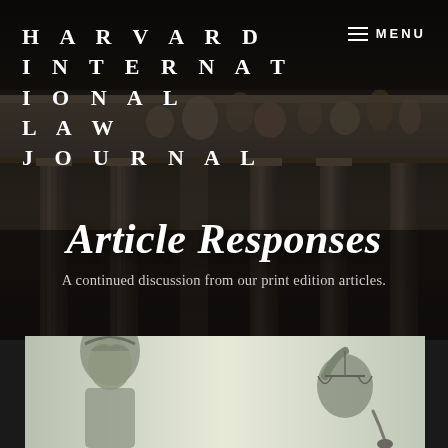[Figure (photo): Dark background photo of a classical building facade with columns and sculptural friezes, low angle shot]
HARVARD INTERNATIONAL LAW JOURNAL
MENU
Article Responses
A continued discussion from our print edition articles.
[Figure (photo): Bronze statue of Lady Justice with scales and a laurel-crowned figure, photographed against a light background]